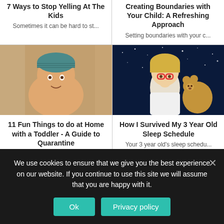7 Ways to Stop Yelling At The Kids
Sometimes it can be hard to st...
Creating Boundaries with Your Child: A Refreshing Approach
Setting boundaries with your c...
[Figure (photo): A chubby baby/toddler wearing a striped teal beanie hat, shirtless, posing indoors]
11 Fun Things to do at Home with a Toddler - A Guide to Quarantine
The Shelter in Place has been ...
[Figure (photo): A young blonde toddler with red glasses holding a teddy bear, sitting against a starry night sky background]
How I Survived My 3 Year Old Sleep Schedule
Your 3 year old's sleep schedu...
We use cookies to ensure that we give you the best experience on our website. If you continue to use this site we will assume that you are happy with it.